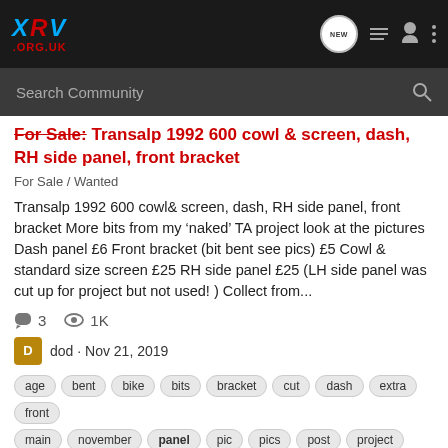XRV .ORG.UK - Search Community
For Sale: Transalp 1992 600 cowl & screen, dash, RH side panel, front bracket
For Sale / Wanted
Transalp 1992 600 cowl& screen, dash, RH side panel, front bracket More bits from my ‘naked’ TA project look at the pictures Dash panel £6 Front bracket (bit bent see pics) £5 Cowl & standard size screen £25 RH side panel £25 (LH side panel was cut up for project but not used! ) Collect from...
3 comments  1K views
dod · Nov 21, 2019
age  bent  bike  bits  bracket  cut  dash  extra  front
main  november  panel  pic  pics  post  project  rh
saturday  screen  side  size  standard  ta  tach  transalp